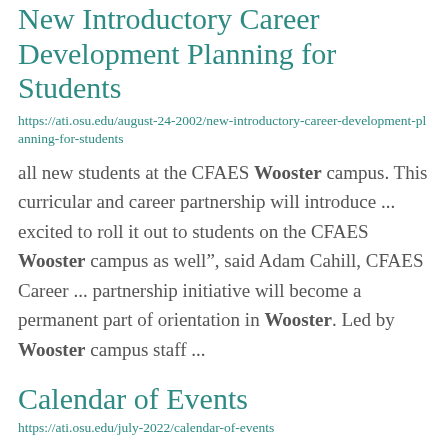New Introductory Career Development Planning for Students
https://ati.osu.edu/august-24-2002/new-introductory-career-development-planning-for-students
all new students at the CFAES Wooster campus. This curricular and career partnership will introduce ... excited to roll it out to students on the CFAES Wooster campus as well”, said Adam Cahill, CFAES Career ... partnership initiative will become a permanent part of orientation in Wooster. Led by Wooster campus staff ...
Calendar of Events
https://ati.osu.edu/july-2022/calendar-of-events